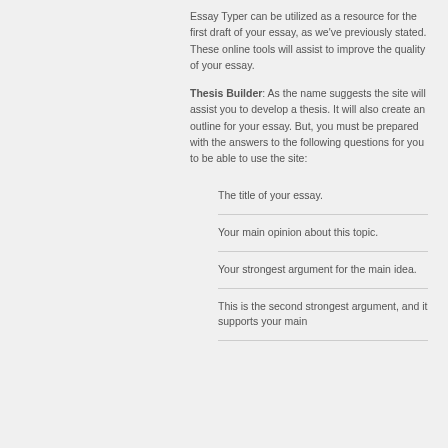Essay Typer can be utilized as a resource for the first draft of your essay, as we've previously stated. These online tools will assist to improve the quality of your essay.
Thesis Builder: As the name suggests the site will assist you to develop a thesis. It will also create an outline for your essay. But, you must be prepared with the answers to the following questions for you to be able to use the site:
The title of your essay.
Your main opinion about this topic.
Your strongest argument for the main idea.
This is the second strongest argument, and it supports your main